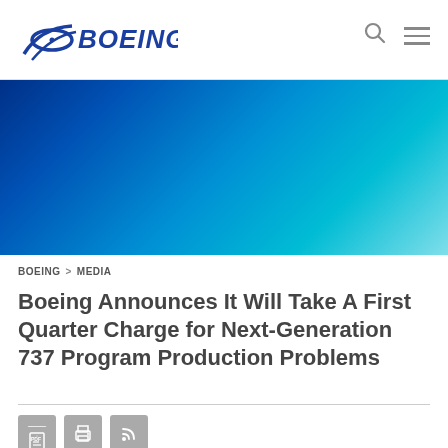[Figure (logo): Boeing logo with globe graphic and BOEING wordmark in blue italic]
[Figure (photo): Blue gradient hero banner transitioning from deep navy blue on the left to bright cyan/teal on the right]
BOEING > MEDIA
Boeing Announces It Will Take A First Quarter Charge for Next-Generation 737 Program Production Problems